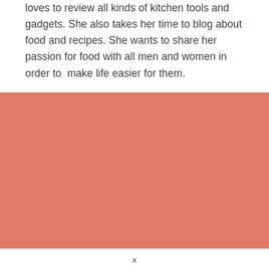loves to review all kinds of kitchen tools and gadgets. She also takes her time to blog about food and recipes. She wants to share her passion for food with all men and women in order to  make life easier for them.
[Figure (other): A solid salmon/coral-colored rectangular block filling the width of the page, approximately the lower two-thirds region of the visible content area.]
x